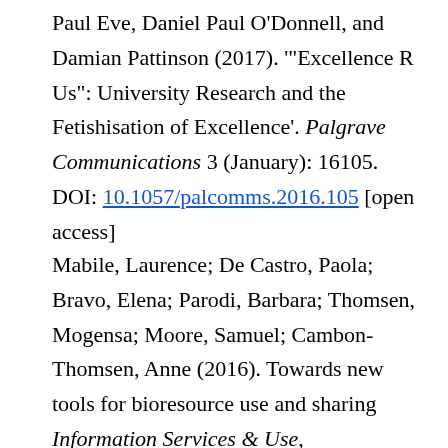Paul Eve, Daniel Paul O'Donnell, and Damian Pattinson (2017). '"Excellence R Us": University Research and the Fetishisation of Excellence'. Palgrave Communications 3 (January): 16105. DOI: 10.1057/palcomms.2016.105 [open access]
Mabile, Laurence; De Castro, Paola; Bravo, Elena; Parodi, Barbara; Thomsen, Mogensa; Moore, Samuel; Cambon-Thomsen, Anne (2016). Towards new tools for bioresource use and sharing Information Services & Use,